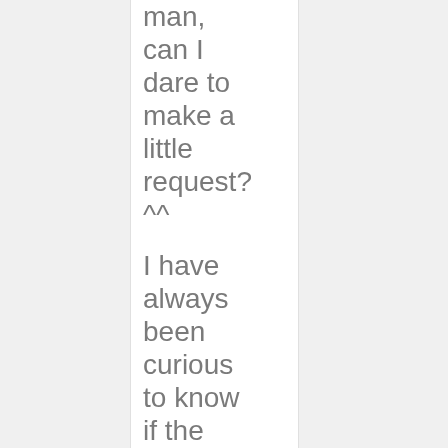man, can I dare to make a little request? ^^

I have always been curious to know if the bridges are really flush on the body on his